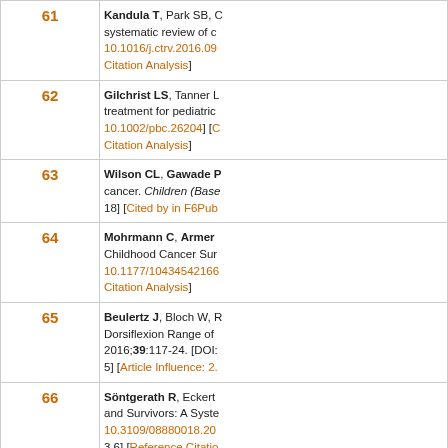| # | Reference |
| --- | --- |
| 61 | Kandula T, Park SB, C... systematic review of c... 10.1016/j.ctrv.2016.09... Citation Analysis] |
| 62 | Gilchrist LS, Tanner L... treatment for pediatric... 10.1002/pbc.26204] [C... Citation Analysis] |
| 63 | Wilson CL, Gawade P... cancer. Children (Base... 18] [Cited by in F6Pub... |
| 64 | Mohrmann C, Armer... Childhood Cancer Sur... 10.1177/10434542166... Citation Analysis] |
| 65 | Beulertz J, Bloch W, R... Dorsiflexion Range of... 2016;39:117-24. [DOI:... 5] [Article Influence: 2.... |
| 66 | Söntgerath R, Eckert... and Survivors: A Syste... 10.3109/08880018.20... 3.6] [Reference Citatio... |